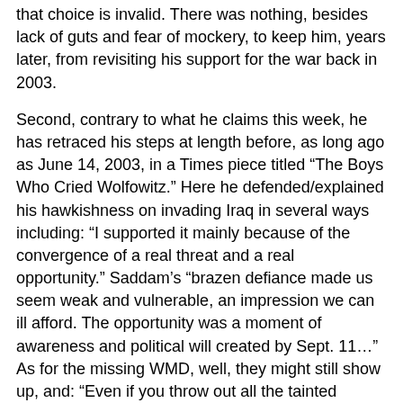that choice is invalid. There was nothing, besides lack of guts and fear of mockery, to keep him, years later, from revisiting his support for the war back in 2003.
Second, contrary to what he claims this week, he has retraced his steps at length before, as long ago as June 14, 2003, in a Times piece titled “The Boys Who Cried Wolfowitz.” Here he defended/explained his hawkishness on invading Iraq in several ways including: “I supported it mainly because of the convergence of a real threat and a real opportunity.” Saddam’s “brazen defiance made us seem weak and vulnerable, an impression we can ill afford. The opportunity was a moment of awareness and political will created by Sept. 11…” As for the missing WMD, well, they might still show up, and: “Even if you throw out all the tainted evidence, there was still what prosecutors call probable cause to believe that Saddam was harboring frightful weapons, and was bent on acquiring the most frightful weapons of all.” Much of the intel gathering community does seem “corrupted” but this hardly “invalidates the war we won.”
5. Keller, in the new piece, admits invading Iraq was a